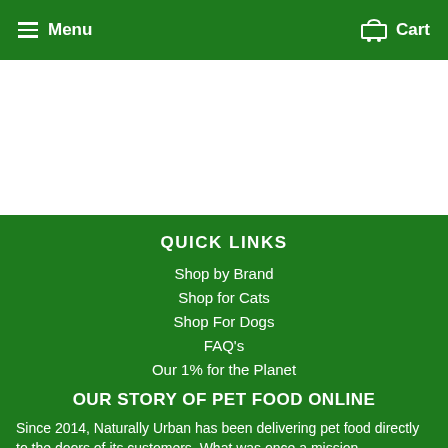Menu   Cart
[Figure (screenshot): White content area placeholder]
QUICK LINKS
Shop by Brand
Shop for Cats
Shop For Dogs
FAQ's
Our 1% for the Planet
OUR STORY OF PET FOOD ONLINE
Since 2014, Naturally Urban has been delivering pet food directly to the doors of its customers. What was once a mission...